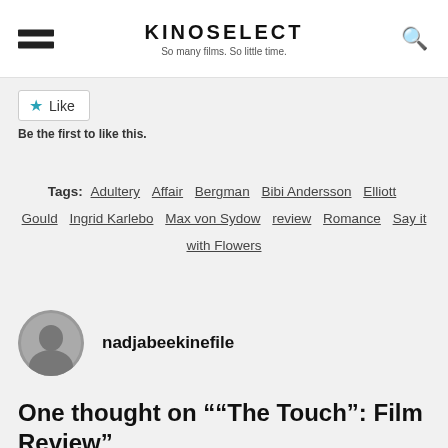KINOSELECT — So many films. So little time.
Like
Be the first to like this.
Tags: Adultery  Affair  Bergman  Bibi Andersson  Elliott Gould  Ingrid Karlebo  Max von Sydow  review  Romance  Say it with Flowers
nadjabeekinefile
One thought on "“The Touch”: Film Review”